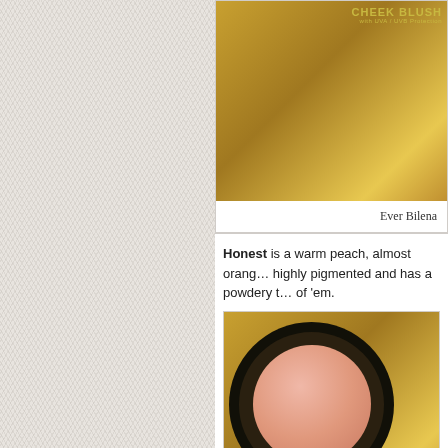[Figure (photo): Photo of Ever Bilena Cheek Blush product box with UVA/UVB protection label, shown against a green and yellow textured background.]
Ever Bilena
Honest is a warm peach, almost oran… highly pigmented and has a powdery t… of 'em.
[Figure (photo): Close-up photo of an open compact blush pan showing a peach/salmon colored blush powder inside a black compact case, on a green and yellow textured background.]